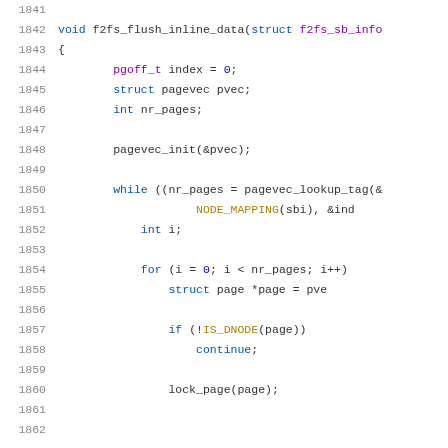Source code listing lines 1841-1861, showing f2fs_flush_inline_data function in C